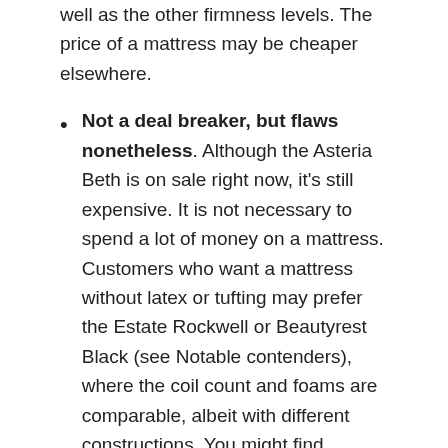well as the other firmness levels. The price of a mattress may be cheaper elsewhere.
Not a deal breaker, but flaws nonetheless. Although the Asteria Beth is on sale right now, it's still expensive. It is not necessary to spend a lot of money on a mattress. Customers who want a mattress without latex or tufting may prefer the Estate Rockwell or Beautyrest Black (see Notable contenders), where the coil count and foams are comparable, albeit with different constructions. You might find WinkBed Softer comparable to WinkBed Softer since both contain microcoiled upper layers. For those looking for a budget-friendly mattress, Serta's Perfect Sleeper Select Kleinmon II Pillow Top